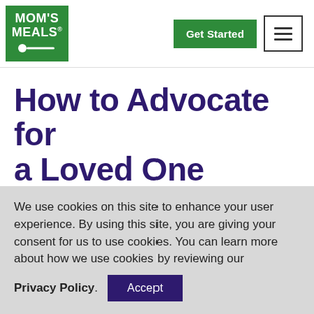[Figure (logo): Mom's Meals logo — green square with white text 'MOM'S MEALS' and a white spoon icon]
How to Advocate for a Loved One
Posted on Tuesday, December 11, 2018
Understanding how to act in the best interest
We use cookies on this site to enhance your user experience. By using this site, you are giving your consent for us to use cookies. You can learn more about how we use cookies by reviewing our Privacy Policy. Accept